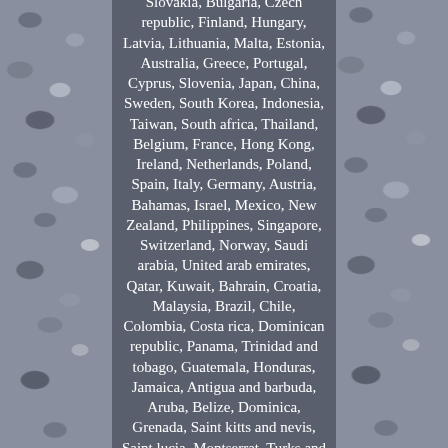Slovakia, Bulgaria, Czech republic, Finland, Hungary, Latvia, Lithuania, Malta, Estonia, Australia, Greece, Portugal, Cyprus, Slovenia, Japan, China, Sweden, South Korea, Indonesia, Taiwan, South africa, Thailand, Belgium, France, Hong Kong, Ireland, Netherlands, Poland, Spain, Italy, Germany, Austria, Bahamas, Israel, Mexico, New Zealand, Philippines, Singapore, Switzerland, Norway, Saudi arabia, United arab emirates, Qatar, Kuwait, Bahrain, Croatia, Malaysia, Brazil, Chile, Colombia, Costa rica, Dominican republic, Panama, Trinidad and tobago, Guatemala, Honduras, Jamaica, Antigua and barbuda, Aruba, Belize, Dominica, Grenada, Saint kitts and nevis, Saint lucia, Montserrat, Turks and caicos islands, Barbados, Bangladesh, Bermuda, Brunei darussalam, Bolivia, Ecuador, Egypt, French guiana, Guernsey, Gibraltar,